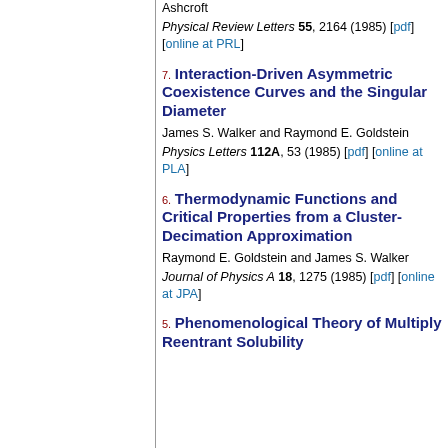Ashcroft
Physical Review Letters 55, 2164 (1985) [pdf] [online at PRL]
7. Interaction-Driven Asymmetric Coexistence Curves and the Singular Diameter
James S. Walker and Raymond E. Goldstein
Physics Letters 112A, 53 (1985) [pdf] [online at PLA]
6. Thermodynamic Functions and Critical Properties from a Cluster-Decimation Approximation
Raymond E. Goldstein and James S. Walker
Journal of Physics A 18, 1275 (1985) [pdf] [online at JPA]
5. Phenomenological Theory of Multiply Reentrant Solubility